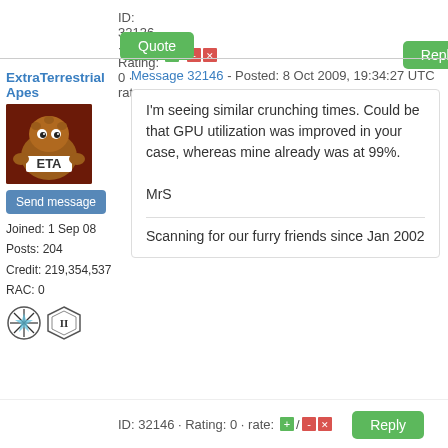ID: 32136 · Rating: 0 · rate: [+] / [-] [x]
Reply
Quote
ExtraTerrestrial Apes
Message 32146 - Posted: 8 Oct 2009, 19:34:27 UTC
[Figure (photo): Avatar of ExtraTerrestrial Apes: fuzzy brown cartoon alien holding a sign that says ETA]
Send message
Joined: 1 Sep 08
Posts: 204
Credit: 219,354,537
RAC: 0
[Figure (illustration): Two badge icons: a starburst badge and a diamond/shield badge]
I'm seeing similar crunching times. Could be that GPU utilization was improved in your case, whereas mine already was at 99%.

MrS

Scanning for our furry friends since Jan 2002
ID: 32146 · Rating: 0 · rate: [+] / [-] [x]
Reply